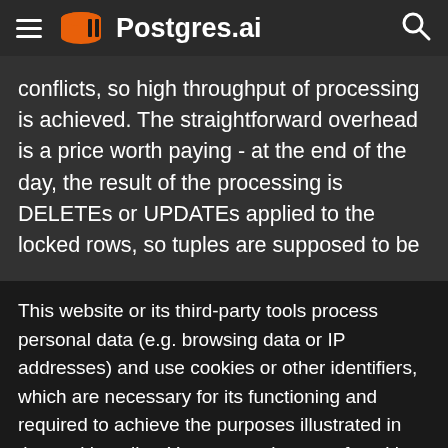Postgres.ai
conflicts, so high throughput of processing is achieved. The straightforward overhead is a price worth paying - at the end of the day, the result of the processing is DELETEs or UPDATEs applied to the locked rows, so tuples are supposed to be
This website or its third-party tools process personal data (e.g. browsing data or IP addresses) and use cookies or other identifiers, which are necessary for its functioning and required to achieve the purposes illustrated in the cookie policy. You accept the use of cookies or other identifiers by closing or dismissing this notice, by clicking a link or button or by continuing to browse otherwise.
Accept | Learn more (Privacy Policy)